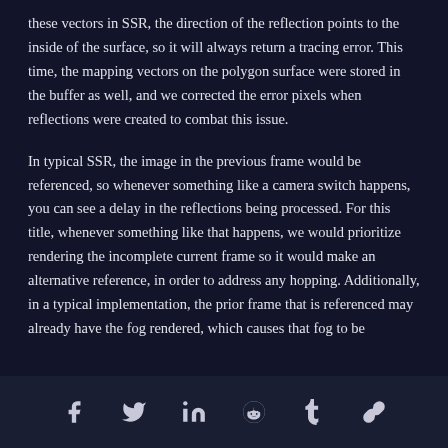these vectors in SSR, the direction of the reflection points to the inside of the surface, so it will always return a tracing error. This time, the mapping vectors on the polygon surface were stored in the buffer as well, and we corrected the error pixels when reflections were created to combat this issue.
In typical SSR, the image in the previous frame would be referenced, so whenever something like a camera switch happens, you can see a delay in the reflections being processed. For this title, whenever something like that happens, we would prioritize rendering the incomplete current frame so it would make an alternative reference, in order to address any hopping. Additionally, in a typical implementation, the prior frame that is referenced may already have the fog rendered, which causes that fog to be
f  y  in  reddit  t  link